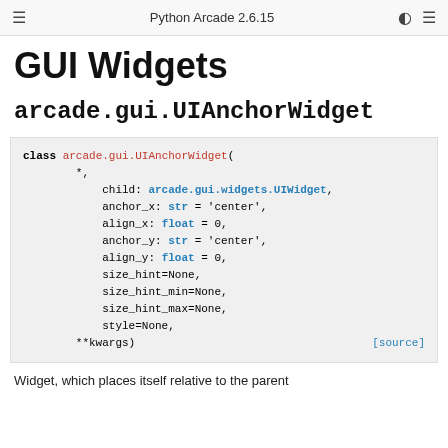Python Arcade 2.6.15
GUI Widgets
arcade.gui.UIAnchorWidget
class arcade.gui.UIAnchorWidget(
        *,
        child: arcade.gui.widgets.UIWidget,
        anchor_x: str = 'center',
        align_x: float = 0,
        anchor_y: str = 'center',
        align_y: float = 0,
        size_hint=None,
        size_hint_min=None,
        size_hint_max=None,
        style=None,
        **kwargs)
Widget, which places itself relative to the parent